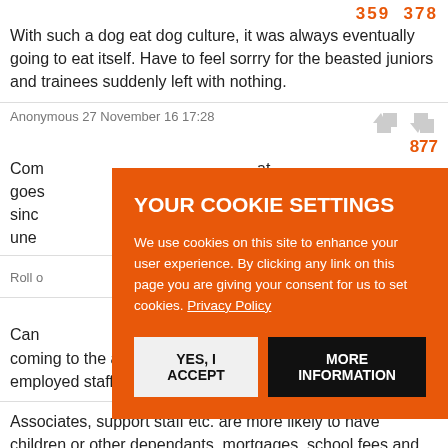359  378
With such a dog eat dog culture, it was always eventually going to eat itself. Have to feel sorrry for the beasted juniors and trainees suddenly left with nothing.
Anonymous 27 November 16 17:28
877
Com... at goes... sinc... une...
Roll o...
[Figure (infographic): Cookie consent overlay on orange background with title YOUR COOKIE SETTINGS, body text about cookies, Privacy Policy link, YES I ACCEPT button and MORE INFORMATION button]
890
Can... coming to the aid of trainees, to the exclusion of all other employed staff?
Associates, support staff etc. are more likely to have children or other dependants, mortgages, school fees and other obligations that would make their loss of job far more